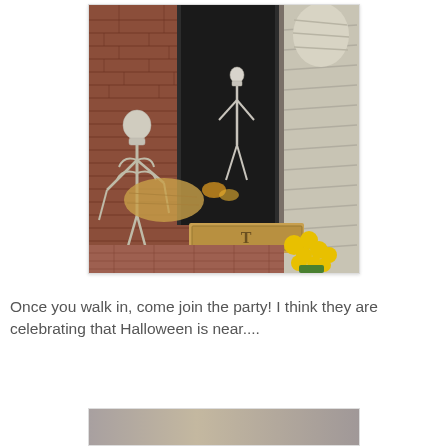[Figure (photo): Halloween decorated front porch with brick wall, black front door, skeleton decorations on left side, a mummy figure on the right, hay bales, a monogrammed doormat with letter T, and yellow chrysanthemum flowers in front. Candles visible through open door.]
Once you walk in, come join the party! I think they are celebrating that Halloween is near....
[Figure (photo): Partially visible second photo at bottom of page, appears to show Halloween-related imagery.]